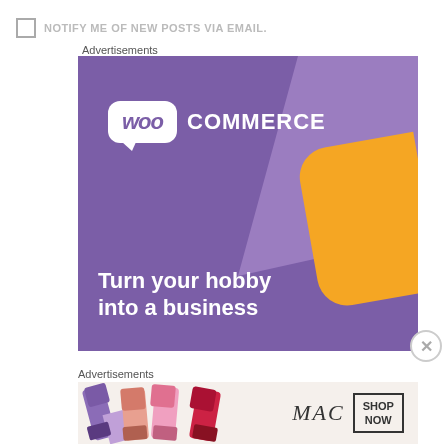NOTIFY ME OF NEW POSTS VIA EMAIL.
Advertisements
[Figure (illustration): WooCommerce advertisement banner with purple background, WooCommerce logo, orange decorative shape, and text 'Turn your hobby into a business']
Advertisements
[Figure (illustration): MAC cosmetics advertisement showing lipsticks and SHOP NOW button]